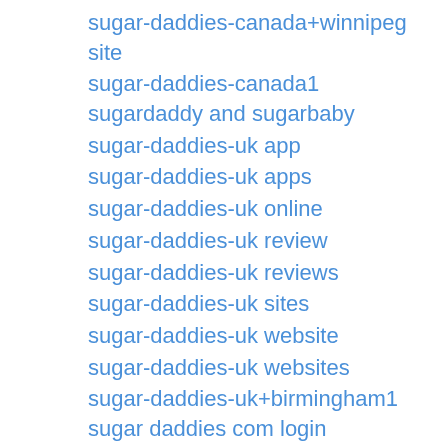sugar-daddies-canada+winnipeg site
sugar-daddies-canada1 sugardaddy and sugarbaby
sugar-daddies-uk app
sugar-daddies-uk apps
sugar-daddies-uk online
sugar-daddies-uk review
sugar-daddies-uk reviews
sugar-daddies-uk sites
sugar-daddies-uk website
sugar-daddies-uk websites
sugar-daddies-uk+birmingham1 sugar daddies com login
sugar-daddies-uk+cardiff reviews
sugar-daddies-uk1 sugar daddy apps that